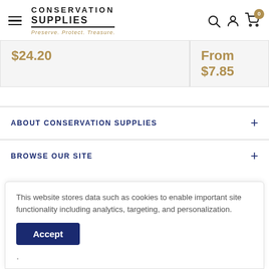Conservation Supplies — Preserve. Protect. Treasure.
$24.20
From $7.85
ABOUT CONSERVATION SUPPLIES
BROWSE OUR SITE
This website stores data such as cookies to enable important site functionality including analytics, targeting, and personalization.